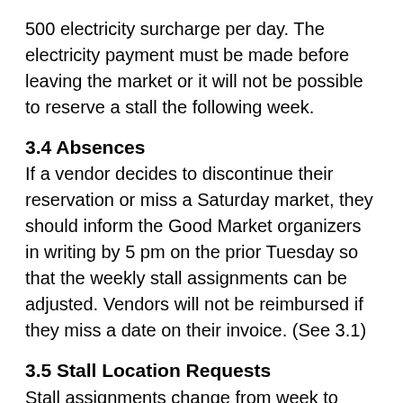500 electricity surcharge per day. The electricity payment must be made before leaving the market or it will not be possible to reserve a stall the following week.
3.4 Absences
If a vendor decides to discontinue their reservation or miss a Saturday market, they should inform the Good Market organizers in writing by 5 pm on the prior Tuesday so that the weekly stall assignments can be adjusted. Vendors will not be reimbursed if they miss a date on their invoice. (See 3.1)
3.5 Stall Location Requests
Stall assignments change from week to week depending on vendor participation. It is not possible to request a specific stall number, but full stall vendors can request to be close to or far away from another vendor, close to or far away from music, in a particular section or on a particular side. Priority for special requests is given